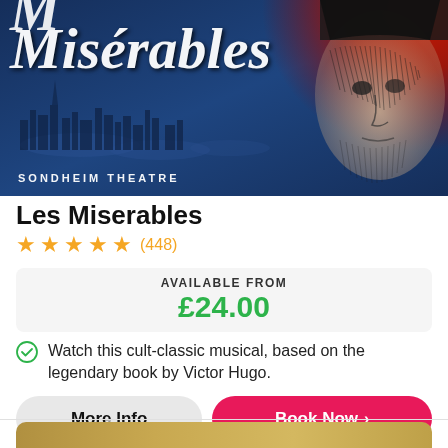[Figure (photo): Les Misérables musical poster showing title text in white italic serif font over a dark blue background with red splash and illustrated face on right side. Text 'SONDHEIM THEATRE' at bottom left.]
Les Miserables
★★★★★ (448)
AVAILABLE FROM £24.00
Watch this cult-classic musical, based on the legendary book by Victor Hugo.
More Info
Book Now >